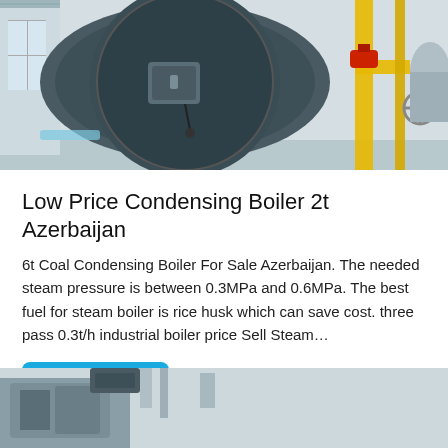[Figure (photo): Industrial condensing boiler in a facility room with pipes, valves and yellow gas supply lines]
Low Price Condensing Boiler 2t Azerbaijan
6t Coal Condensing Boiler For Sale Azerbaijan. The needed steam pressure is between 0.3MPa and 0.6MPa. The best fuel for steam boiler is rice husk which can save cost. three pass 0.3t/h industrial boiler price Sell Steam…
Get Price
[Figure (photo): Partial view of another industrial boiler or machinery at the bottom of the page]